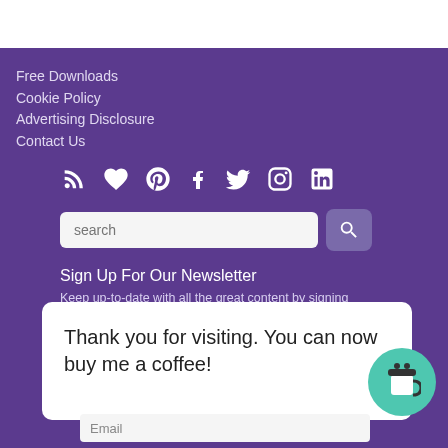Free Downloads
Cookie Policy
Advertising Disclosure
Contact Us
[Figure (infographic): Social media icon row: RSS, Heart, Pinterest, Facebook, Twitter, Instagram, LinkedIn — all white on purple background]
[Figure (screenshot): Search input field with placeholder text 'search' and a search button with magnifying glass icon]
Sign Up For Our Newsletter
Keep up-to-date with all the great content by signing up below
Thank you for visiting. You can now buy me a coffee!
Email